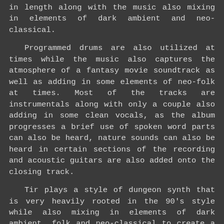in length along with the music also mixing in elements of dark ambient and neo-classical.
Programmed drums are also utilized at times while the music also captures the atmosphere of a fantasy movie soundtrack as well as adding in some elements of neo-folk at times. Most of the tracks are instrumentals along with only a couple also adding in some clean vocals, as the album progresses a brief use of spoken word parts can also be heard, nature sounds can also be heard in certain sections of the recording and acoustic guitars are also added onto the closing track.
Tir plays a style of dungeon synth that is very heavily rooted in the 90's style while also mixing in elements of dark ambient, folk and neo-classical to create a sound of his own. The production sounds very dark while the lyrics cover Paganism and Fantasy themes when they are utilized.
In my opinion Tir are a very great sounding dungeon synth solo project and if you are a fan of this musical